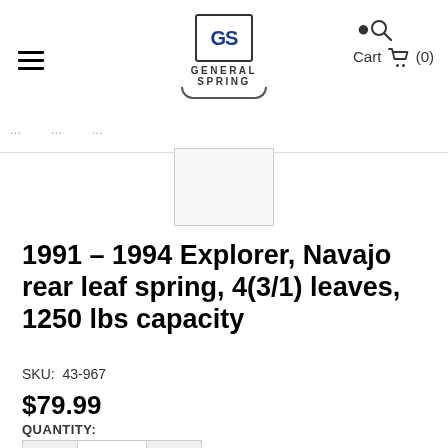General Spring — Cart (0)
[Figure (screenshot): General Spring logo with GS monogram icon and curved underline]
[Figure (photo): Product thumbnail image placeholder for leaf spring]
1991 – 1994 Explorer, Navajo rear leaf spring, 4(3/1) leaves, 1250 lbs capacity
SKU: 43-967
$79.99
QUANTITY: